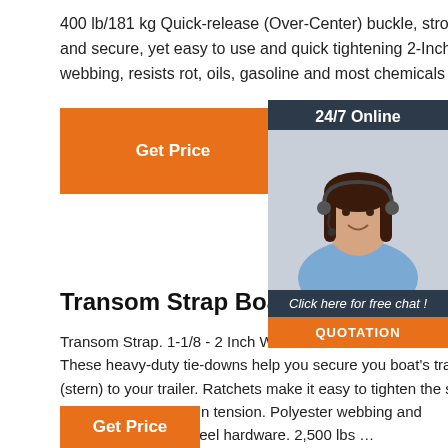400 lb/181 kg Quick-release (Over-Center) buckle, strong and secure, yet easy to use and quick tightening 2-Inch-wide webbing, resists rot, oils, gasoline and most chemicals
Get Price
[Figure (photo): 24/7 Online chat widget with a smiling woman wearing a headset, with 'Click here for free chat!' text and a QUOTATION button]
Transom Strap Boat Tie Dow...
Transom Strap. 1-1/8 - 2 Inch Wide. 501 - 8... BoatBuckle. These heavy-duty tie-downs help you secure you boat's transom (stern) to your trailer. Ratchets make it easy to tighten the straps precisely and maintain tension. Polyester webbing and corrosion-resistant steel hardware. 2,500 lbs …
Get Price